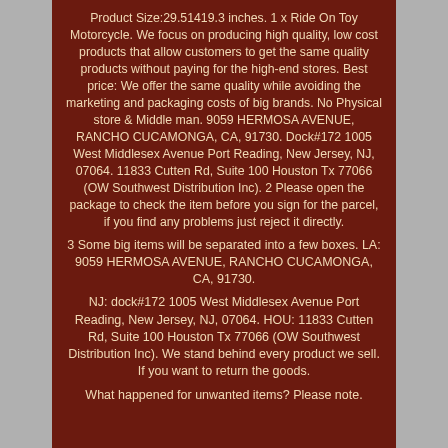Product Size:29.51419.3 inches. 1 x Ride On Toy Motorcycle. We focus on producing high quality, low cost products that allow customers to get the same quality products without paying for the high-end stores. Best price: We offer the same quality while avoiding the marketing and packaging costs of big brands. No Physical store & Middle man. 9059 HERMOSA AVENUE, RANCHO CUCAMONGA, CA, 91730. Dock#172 1005 West Middlesex Avenue Port Reading, New Jersey, NJ, 07064. 11833 Cutten Rd, Suite 100 Houston Tx 77066 (OW Southwest Distribution Inc). 2 Please open the package to check the item before you sign for the parcel, if you find any problems just reject it directly.
3 Some big items will be separated into a few boxes. LA: 9059 HERMOSA AVENUE, RANCHO CUCAMONGA, CA, 91730.
NJ: dock#172 1005 West Middlesex Avenue Port Reading, New Jersey, NJ, 07064. HOU: 11833 Cutten Rd, Suite 100 Houston Tx 77066 (OW Southwest Distribution Inc). We stand behind every product we sell. If you want to return the goods.
What happened for unwanted items? Please note.